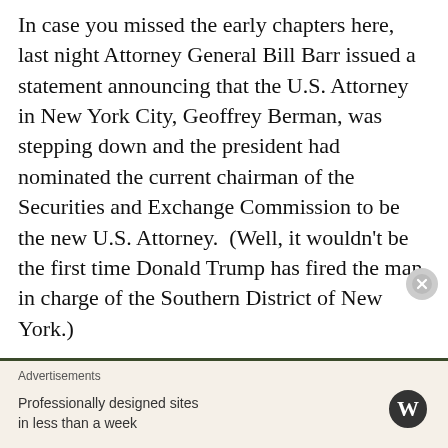In case you missed the early chapters here, last night Attorney General Bill Barr issued a statement announcing that the U.S. Attorney in New York City, Geoffrey Berman, was stepping down and the president had nominated the current chairman of the Securities and Exchange Commission to be the new U.S. Attorney. (Well, it wouldn't be the first time Donald Trump has fired the man in charge of the Southern District of New York.)
[Figure (screenshot): Embedded tweet from Ryan J. Reilly (@ryanjreilly) with verified badge and Follow button, Twitter bird logo top right. Tweet text: 'Some SDNY news... the U.S. Attorney for N.J. is taking over SDNY on an acting basis as Geoffrey Berman steps down.']
Advertisements
Professionally designed sites in less than a week